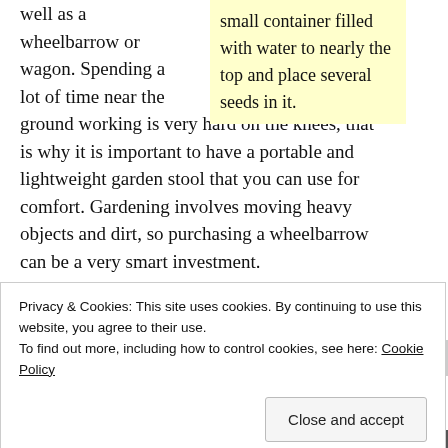well as a wheelbarrow or wagon. Spending a lot of time near the ground working is very hard on the knees, that is why it is important to have a portable and lightweight garden stool that you can use for comfort. Gardening involves moving heavy objects and dirt, so purchasing a wheelbarrow can be a very smart investment.
small container filled with water to nearly the top and place several seeds in it.
Pest control can present a vegetable horticulture. One way that you can help control garden pests at bay is to remain vigilant. If you
Privacy & Cookies: This site uses cookies. By continuing to use this website, you agree to their use.
To find out more, including how to control cookies, see here: Cookie Policy
Close and accept